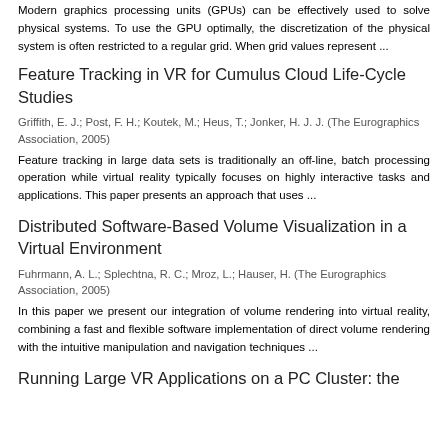Modern graphics processing units (GPUs) can be effectively used to solve physical systems. To use the GPU optimally, the discretization of the physical system is often restricted to a regular grid. When grid values represent ...
Feature Tracking in VR for Cumulus Cloud Life-Cycle Studies
Griffith, E. J.; Post, F. H.; Koutek, M.; Heus, T.; Jonker, H. J. J. (The Eurographics Association, 2005)
Feature tracking in large data sets is traditionally an off-line, batch processing operation while virtual reality typically focuses on highly interactive tasks and applications. This paper presents an approach that uses ...
Distributed Software-Based Volume Visualization in a Virtual Environment
Fuhrmann, A. L.; Splechtna, R. C.; Mroz, L.; Hauser, H. (The Eurographics Association, 2005)
In this paper we present our integration of volume rendering into virtual reality, combining a fast and flexible software implementation of direct volume rendering with the intuitive manipulation and navigation techniques ...
Running Large VR Applications on a PC Cluster: the